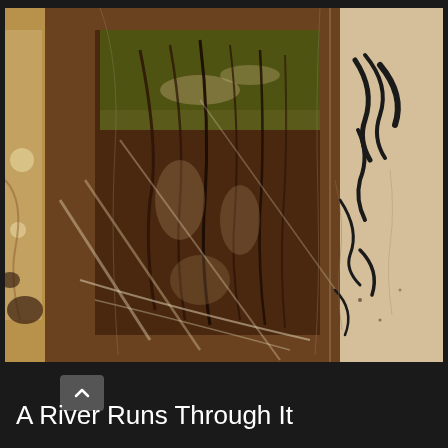[Figure (photo): Close-up photograph of an abstract artwork or mixed media piece showing layered textures with brownish, rust-colored, and cream tones. The image shows what appears to be stained or treated paper/fabric with organic flowing lines and marks. There are dark calligraphic brush strokes visible on the right side, and the overall composition has a warm sepia-brown palette with areas of lighter cream and white. The piece has a weathered, aged quality with overlapping translucent layers.]
A River Runs Through It